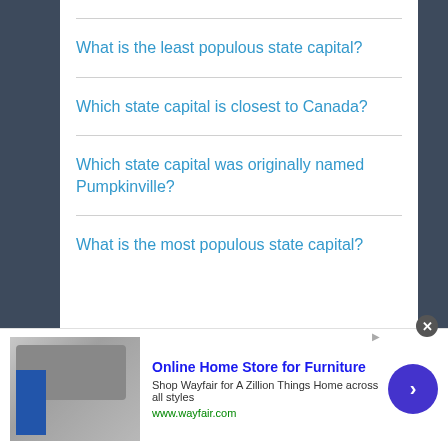What is the least populous state capital?
Which state capital is closest to Canada?
Which state capital was originally named Pumpkinville?
What is the most populous state capital?
[Figure (screenshot): Advertisement banner for Wayfair Online Home Store for Furniture showing appliance/furniture image, ad title, description text, and arrow button]